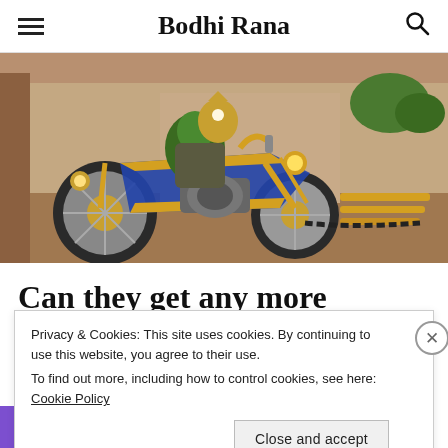Bodhi Rana
[Figure (photo): Screenshot from a video game showing a steampunk/fantasy motorcycle with gold and blue colors, mechanical robot rider, in a courtyard setting.]
Can they get any more convoluted?
Privacy & Cookies: This site uses cookies. By continuing to use this website, you agree to their use.
To find out more, including how to control cookies, see here: Cookie Policy
Close and accept
[Figure (other): Bottom advertisement banner partially visible, showing purple section and text 'subscriptions online']